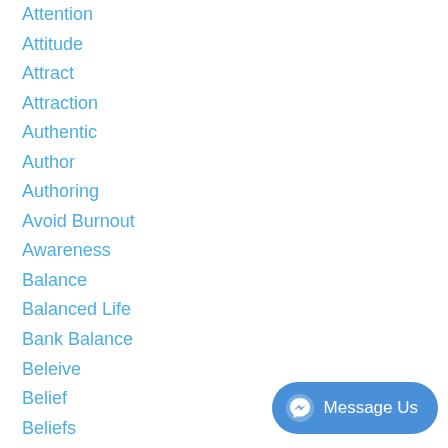Attention
Attitude
Attract
Attraction
Authentic
Author
Authoring
Avoid Burnout
Awareness
Balance
Balanced Life
Bank Balance
Beleive
Belief
Beliefs
Blocked
Body Language
Book
Book Covers
Books
Book Sales